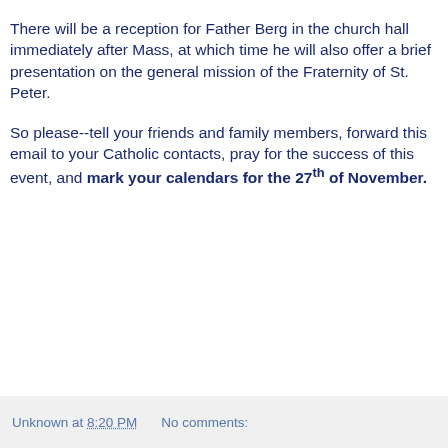There will be a reception for Father Berg in the church hall immediately after Mass, at which time he will also offer a brief presentation on the general mission of the Fraternity of St. Peter.
So please--tell your friends and family members, forward this email to your Catholic contacts, pray for the success of this event, and mark your calendars for the 27th of November.
Unknown at 8:20 PM    No comments: